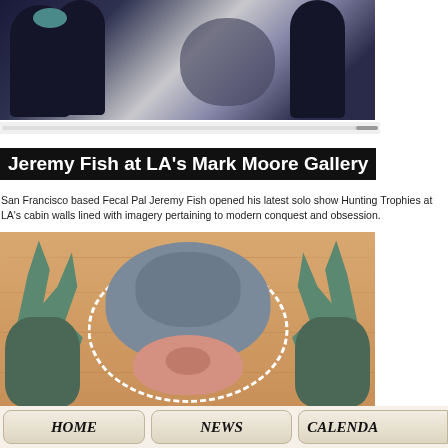[Figure (photo): Photo of people at an art gallery viewed from behind, with a dark silhouette shadow on the wall]
Jeremy Fish at LA's Mark Moore Gallery
San Francisco based Fecal Pal Jeremy Fish opened his latest solo show Hunting Trophies at LA's cabin walls lined with imagery pertaining to modern conquest and obsession.
[Figure (illustration): Illustration of a hunting trophy-style artwork featuring a buffalo/rhino-like animal flanked by deer antlers and a pig below, against a wood-grain background, with a dashed oval border]
[Figure (screenshot): Navigation bar with HOME, NEWS, and CALENDAR buttons in beige/tan rounded rectangle style]